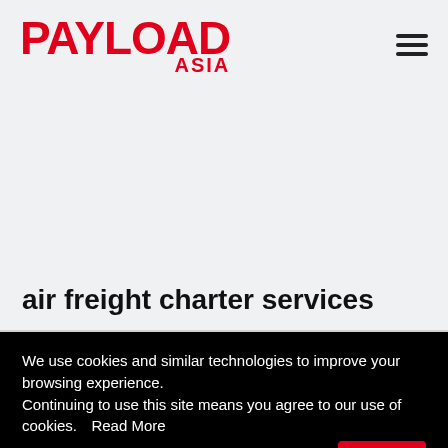[Figure (logo): Payload Asia logo in bold red text with PAYLOAD large and ASIA smaller below-right]
air freight charter services
We use cookies and similar technologies to improve your browsing experience. Continuing to use this site means you agree to our use of cookies. Read More
I agree